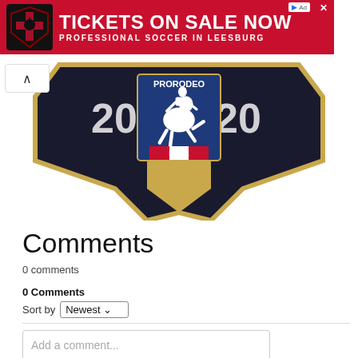[Figure (illustration): Red advertisement banner for Loudoun Soccer: 'TICKETS ON SALE NOW – PROFESSIONAL SOCCER IN LEESBURG' with logo on left, close button top right, and 'Ad' label.]
[Figure (logo): ProRodeo PRCA 2020 emblem/badge logo — dark shield shape with gold trim, '20 20' on sides, blue panel with bucking bronco rider, red/white PRCA shield below.]
Comments
0 comments
0 Comments
Sort by Newest
Add a comment...